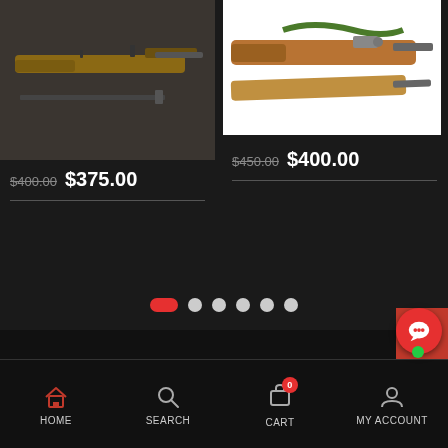[Figure (photo): Rifle/firearm with bayonet on light background, left product card]
$400.00 $375.00
[Figure (photo): Rifle with green strap on white background, right product card]
$450.00 $400.00
[Figure (other): Carousel pagination dots - one active red pill and five white circles]
HOME   SEARCH   CART 0   MY ACCOUNT